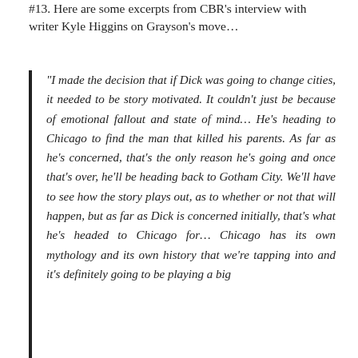#13. Here are some excerpts from CBR's interview with writer Kyle Higgins on Grayson's move…
“I made the decision that if Dick was going to change cities, it needed to be story motivated. It couldn’t just be because of emotional fallout and state of mind… He’s heading to Chicago to find the man that killed his parents. As far as he’s concerned, that’s the only reason he’s going and once that’s over, he’ll be heading back to Gotham City. We’ll have to see how the story plays out, as to whether or not that will happen, but as far as Dick is concerned initially, that’s what he’s headed to Chicago for… Chicago has its own mythology and its own history that we’re tapping into and it’s definitely going to be playing a big